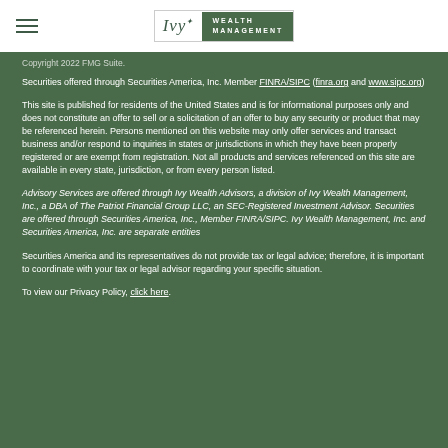Ivy Wealth Management
Copyright 2022 FMG Suite.
Securities offered through Securities America, Inc. Member FINRA/SIPC (finra.org and www.sipc.org)
This site is published for residents of the United States and is for informational purposes only and does not constitute an offer to sell or a solicitation of an offer to buy any security or product that may be referenced herein. Persons mentioned on this website may only offer services and transact business and/or respond to inquiries in states or jurisdictions in which they have been properly registered or are exempt from registration. Not all products and services referenced on this site are available in every state, jurisdiction, or from every person listed.
Advisory Services are offered through Ivy Wealth Advisors, a division of Ivy Wealth Management, Inc., a DBA of The Patriot Financial Group LLC, an SEC-Registered Investment Advisor. Securities are offered through Securities America, Inc., Member FINRA/SIPC. Ivy Wealth Management, Inc. and Securities America, Inc. are separate entities
Securities America and its representatives do not provide tax or legal advice; therefore, it is important to coordinate with your tax or legal advisor regarding your specific situation.
To view our Privacy Policy, click here.